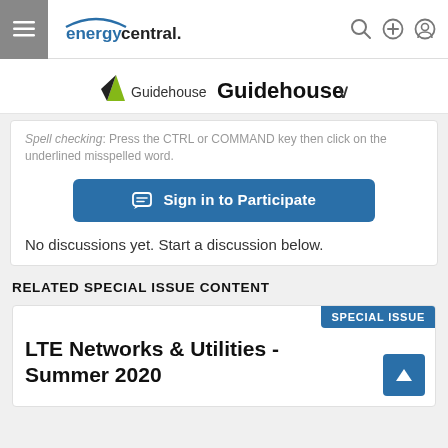energycentral.
[Figure (logo): Guidehouse logo with triangle and text 'Guidehouse' followed by a dropdown chevron]
Spell checking: Press the CTRL or COMMAND key then click on the underlined misspelled word.
Sign in to Participate
No discussions yet. Start a discussion below.
RELATED SPECIAL ISSUE CONTENT
SPECIAL ISSUE
LTE Networks & Utilities - Summer 2020